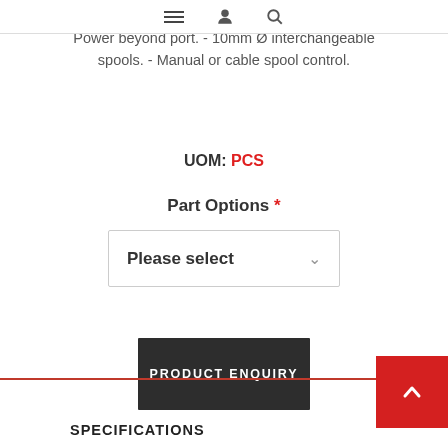Navigation bar with hamburger, user, and search icons
Available with: Port relief and anticavitation valves. - Power beyond port. - 10mm Ø interchangeable spools. - Manual or cable spool control.
UOM: PCS
Part Options *
Please select
PRODUCT ENQUIRY
SPECIFICATIONS